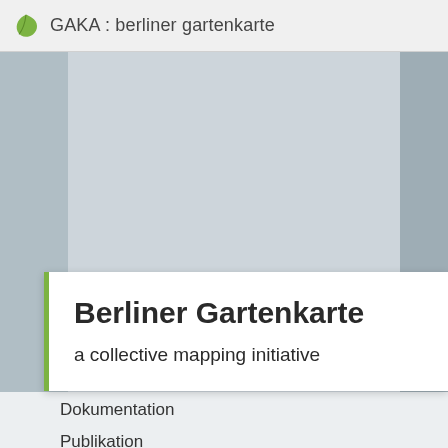GAKA : berliner gartenkarte
[Figure (map): Grey-blue map placeholder area showing a partial view of a digital map interface]
Berliner Gartenkarte
a collective mapping initiative
Dokumentation
Publikation